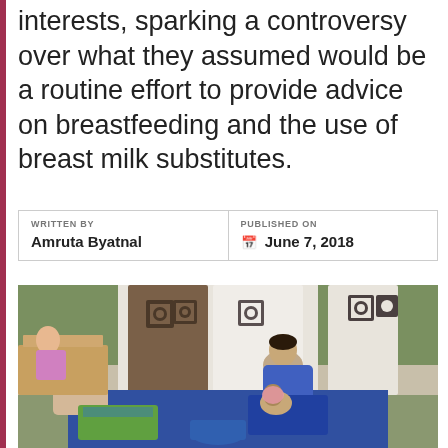interests, sparking a controversy over what they assumed would be a routine effort to provide advice on breastfeeding and the use of breast milk substitutes.
| WRITTEN BY | PUBLISHED ON |
| --- | --- |
| Amruta Byatnal | June 7, 2018 |
[Figure (photo): A woman sitting on the ground at what appears to be an outdoor market, breastfeeding her baby. She is wearing a blue outfit. Behind her are hanging garments with decorative square patterns. Another person is visible to the left. A blue basket is on the ground nearby.]